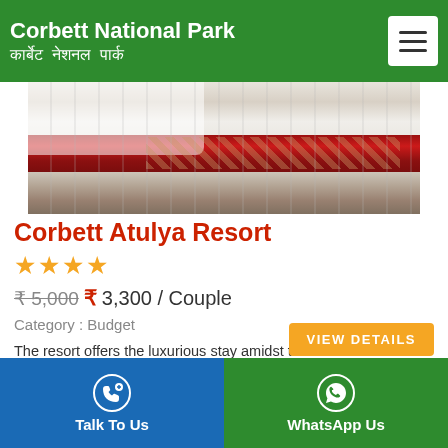Corbett National Park | कार्बेट नेशनल पार्क
[Figure (photo): Hotel room bed with white sheets and red decorative runner/pillow]
Corbett Atulya Resort
★★★★
₹5,000 ₹ 3,300 / Couple
Category : Budget
The resort offers the luxurious stay amidst the forest ambience away from the crowded city so that you can enjoy the wildlife holiday with the modern facilities. The resort has 27 aesthetically designed spacious rooms in the family suites and the premium rooms as well as....
Talk To Us | WhatsApp Us